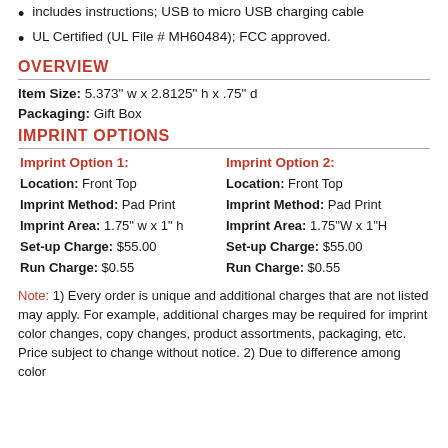includes instructions; USB to micro USB charging cable
UL Certified (UL File # MH60484); FCC approved.
OVERVIEW
Item Size: 5.373" w x 2.8125" h x .75" d
Packaging: Gift Box
IMPRINT OPTIONS
Imprint Option 1:
Imprint Option 2:
Location: Front Top
Imprint Method: Pad Print
Imprint Area: 1.75" w x 1" h
Set-up Charge: $55.00
Run Charge: $0.55
Location: Front Top
Imprint Method: Pad Print
Imprint Area: 1.75"W x 1"H
Set-up Charge: $55.00
Run Charge: $0.55
Note: 1) Every order is unique and additional charges that are not listed may apply. For example, additional charges may be required for imprint color changes, copy changes, product assortments, packaging, etc. Price subject to change without notice. 2) Due to difference among color